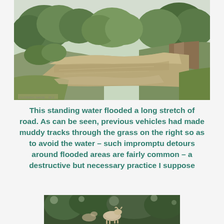[Figure (photo): A flooded road or path surrounded by lush green trees and vegetation. The water is murky brown. A grass verge is visible on the right where vehicles have made muddy tracks to avoid the floodwater.]
This standing water flooded a long stretch of road. As can be seen, previous vehicles had made muddy tracks through the grass on the right so as to avoid the water – such impromptu detours around flooded areas are fairly common – a destructive but necessary practice I suppose
[Figure (photo): Partial photo at bottom of page showing what appears to be an animal or deer among trees and foliage, partially cut off.]